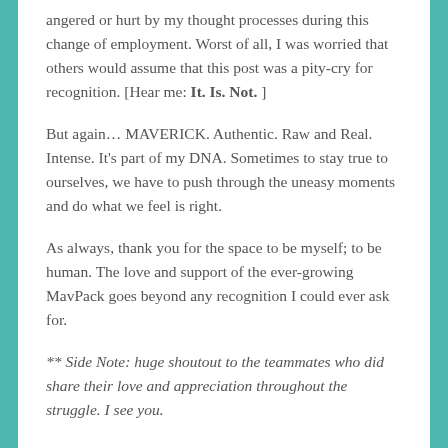angered or hurt by my thought processes during this change of employment. Worst of all, I was worried that others would assume that this post was a pity-cry for recognition. [Hear me: It. Is. Not. ]
But again… MAVERICK. Authentic. Raw and Real. Intense. It's part of my DNA. Sometimes to stay true to ourselves, we have to push through the uneasy moments and do what we feel is right.
As always, thank you for the space to be myself; to be human. The love and support of the ever-growing MavPack goes beyond any recognition I could ever ask for.
** Side Note: huge shoutout to the teammates who did share their love and appreciation throughout the struggle. I see you.